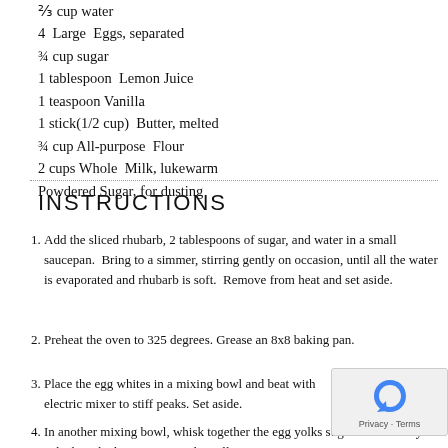¾ cup water
4  Large  Eggs, separated
¾ cup sugar
1 tablespoon  Lemon Juice
1 teaspoon Vanilla
1 stick(1/2 cup)  Butter, melted
¾ cup All-purpose  Flour
2 cups Whole  Milk, lukewarm
Powdered Sugar, for dusting
INSTRUCTIONS
Add the sliced rhubarb, 2 tablespoons of sugar, and water in a small saucepan.  Bring to a simmer, stirring gently on occasion, until all the water is evaporated and rhubarb is soft.  Remove from heat and set aside.
Preheat the oven to 325 degrees. Grease an 8x8 baking pan.
Place the egg whites in a mixing bowl and beat with electric mixer to stiff peaks. Set aside.
In another mixing bowl, whisk together the egg yolks sugar until creamy. Whisk in the lemon juice and vanilla